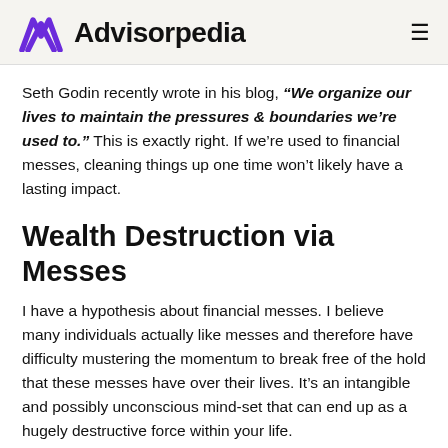Advisorpedia
Seth Godin recently wrote in his blog, “We organize our lives to maintain the pressures & boundaries we’re used to.” This is exactly right. If we’re used to financial messes, cleaning things up one time won’t likely have a lasting impact.
Wealth Destruction via Messes
I have a hypothesis about financial messes. I believe many individuals actually like messes and therefore have difficulty mustering the momentum to break free of the hold that these messes have over their lives. It’s an intangible and possibly unconscious mind-set that can end up as a hugely destructive force within your life.
Financial planning and investing are difficult enough